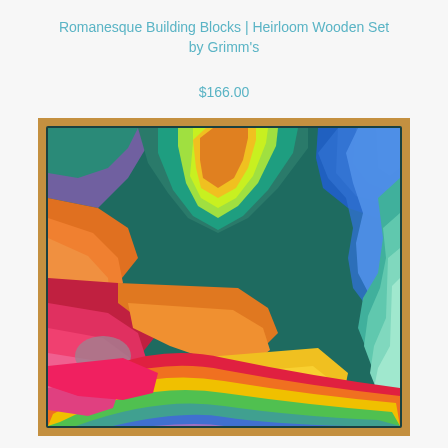Romanesque Building Blocks | Heirloom Wooden Set by Grimm's
$166.00
[Figure (photo): Colorful Grimm's Romanesque Building Blocks heirloom wooden set arranged in a wooden tray, showing layered rainbow-colored wooden pieces arranged like flowing topographic waves in purple, teal, green, yellow, orange, red, pink, and blue.]